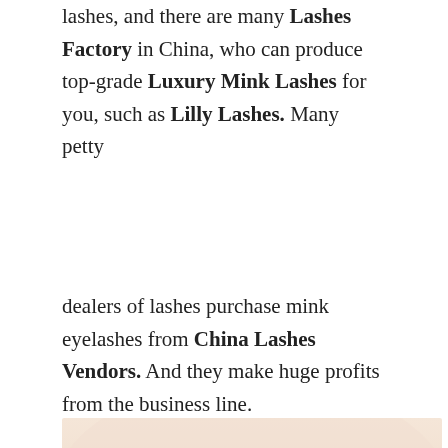lashes, and there are many Lashes Factory in China, who can produce top-grade Luxury Mink Lashes for you, such as Lilly Lashes. Many petty
dealers of lashes purchase mink eyelashes from China Lashes Vendors. And they make huge profits from the business line.
[Figure (photo): Close-up photo of a woman's eye area showing a detailed eyebrow with individual hairs and long eyelashes against a pale skin background.]